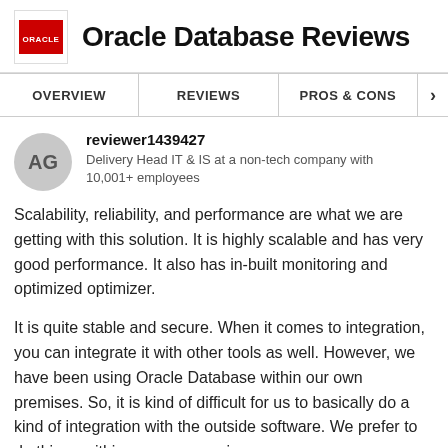Oracle Database Reviews
OVERVIEW | REVIEWS | PROS & CONS
reviewer1439427
Delivery Head IT & IS at a non-tech company with 10,001+ employees
Scalability, reliability, and performance are what we are getting with this solution. It is highly scalable and has very good performance. It also has in-built monitoring and optimized optimizer.
It is quite stable and secure. When it comes to integration, you can integrate it with other tools as well. However, we have been using Oracle Database within our own premises. So, it is kind of difficult for us to basically do a kind of integration with the outside software. We prefer to do things within our own premises.